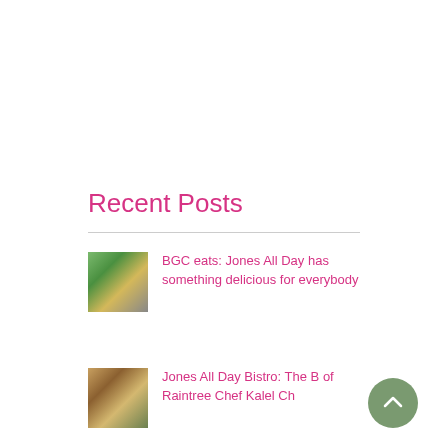Recent Posts
BGC eats: Jones All Day has something delicious for everybody
Jones All Day Bistro: The B of Raintree Chef Kalel Ch